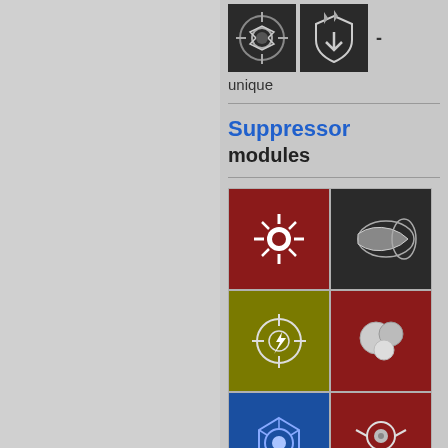[Figure (illustration): Two dark icon boxes with game ability icons at top, followed by a dash]
unique
Suppressor
modules
[Figure (illustration): Grid of colored module icons: red/dark/olive/red/blue/red rows, with common label]
- common
[Figure (illustration): Bottom row of module icons: red and blue colored squares]